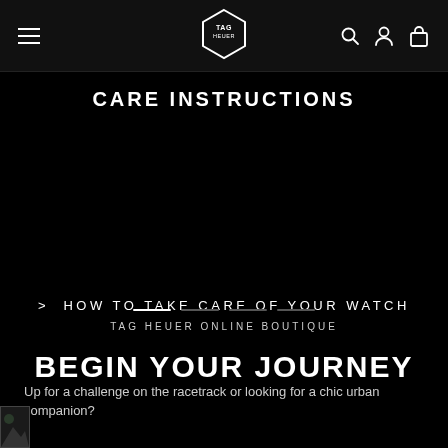TAG HEUER navigation bar with hamburger menu, logo, search, account, and bag icons
CARE INSTRUCTIONS
> HOW TO TAKE CARE OF YOUR WATCH
TAG HEUER ONLINE BOUTIQUE
BEGIN YOUR JOURNEY
Up for a challenge on the racetrack or looking for a chic urban companion?